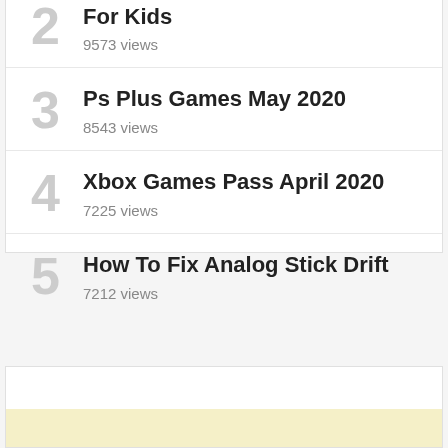For Kids — 9573 views
Ps Plus Games May 2020 — 8543 views
Xbox Games Pass April 2020 — 7225 views
How To Fix Analog Stick Drift — 7212 views